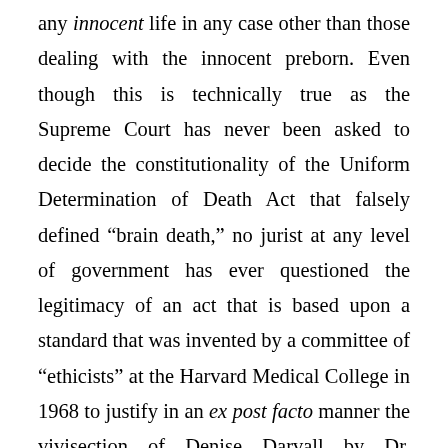any innocent life in any case other than those dealing with the innocent preborn. Even though this is technically true as the Supreme Court has never been asked to decide the constitutionality of the Uniform Determination of Death Act that falsely defined “brain death,” no jurist at any level of government has ever questioned the legitimacy of an act that is based upon a standard that was invented by a committee of “ethicists” at the Harvard Medical College in 1968 to justify in an ex post facto manner the vivisection of Denise Darvall by Dr. Christiaan Barnard in 1967. As readers of this site should know, “brain death” is no kind of death at all. Keep this in mind as the issue “brain death” was mentioned by none other Associate Justice Sonia Sotomayor in her second round of questioning Scott Stewart.